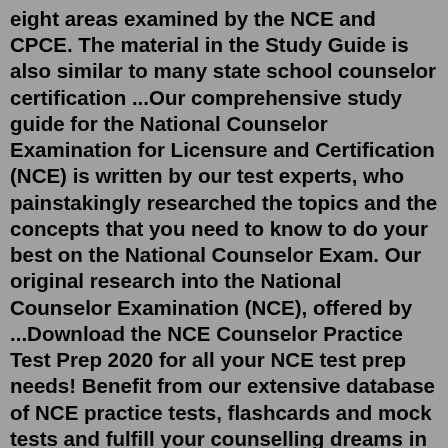eight areas examined by the NCE and CPCE. The material in the Study Guide is also similar to many state school counselor certification ...Our comprehensive study guide for the National Counselor Examination for Licensure and Certification (NCE) is written by our test experts, who painstakingly researched the topics and the concepts that you need to know to do your best on the National Counselor Exam. Our original research into the National Counselor Examination (NCE), offered by ...Download the NCE Counselor Practice Test Prep 2020 for all your NCE test prep needs! Benefit from our extensive database of NCE practice tests, flashcards and mock tests and fulfill your counselling dreams in one attempt! Designed by NCE test prep experts, this app contains 200+ questions with detailed explanations that give the users a clear ...Welcome to Card Game Patience.com, a smorgasbord of all things Patience Solitaire! Stimulating and best of all free (!) 24/7 Games Patience Solitaire games are always available for you...